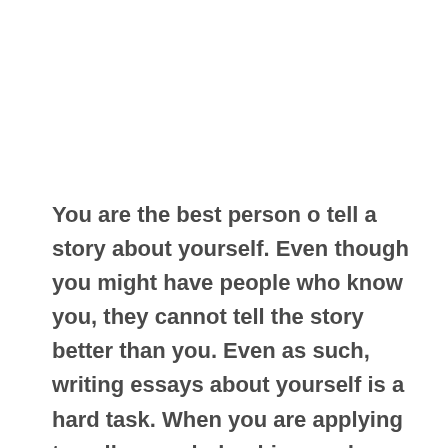You are the best person o tell a story about yourself. Even though you might have people who know you, they cannot tell the story better than you. Even as such, writing essays about yourself is a hard task. When you are applying to college, scholarships, and other areas, here are questions that are asked, requiring us to evaluate ourselves. This may leave one stumped, and as such, it would be a good thing to look at various ways that one can use to write better essays